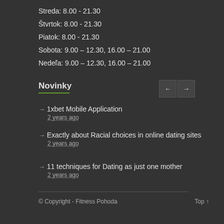Streda: 8.00 - 21.30
Štvrtok: 8.00 - 21.30
Piatok: 8.00 - 21.30
Sobota: 9.00 – 12.30, 16.00 – 21.00
Nedeľa: 9.00 – 12.30, 16.00 – 21.00
Novinky
1xbet Mobile Application
2 years ago
Exactly about Racial choices in online dating sites
2 years ago
11 techniques for Dating as just one mother
2 years ago
© Copyright - Fitness Pohoda        Top ↑